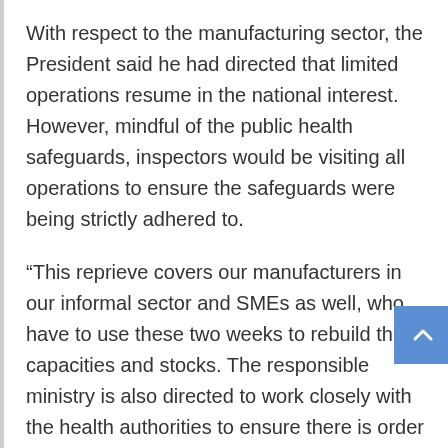With respect to the manufacturing sector, the President said he had directed that limited operations resume in the national interest. However, mindful of the public health safeguards, inspectors would be visiting all operations to ensure the safeguards were being strictly adhered to.
“This reprieve covers our manufacturers in our informal sector and SMEs as well, who have to use these two weeks to rebuild their capacities and stocks. The responsible ministry is also directed to work closely with the health authorities to ensure there is order and safety in that sector, so critical to livelihoods,” said the President.
He added that essential services will continue operating within designated times and parameters as already announced.
President Mnangagwa said the Government had now